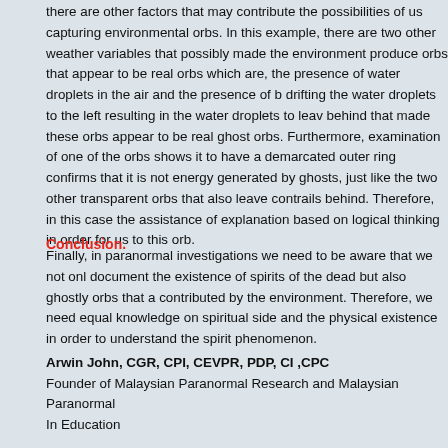there are other factors that may contribute the possibilities of us capturing environmental orbs. In this example, there are two other weather variables that possibly made the environment produce orbs that appear to be real orbs which are, the presence of water droplets in the air and the presence of breeze drifting the water droplets to the left resulting in the water droplets to leave behind that made these orbs appear to be real ghost orbs. Furthermore, examination of one of the orbs shows it to have a demarcated outer ring that confirms that it is not energy generated by ghosts, just like the two other transparent orbs that also leave contrails behind. Therefore, in this case with the assistance of explanation based on logical thinking in order for us to explain this orb.
Conclusion.
Finally, in paranormal investigations we need to be aware that we not only document the existence of spirits of the dead but also ghostly orbs that are contributed by the environment. Therefore, we need equal knowledge on the spiritual side and the physical existence in order to understand the spirit phenomenon.
Arwin John, CGR, CPI, CEVPR, PDP, CI ,CPC
Founder of Malaysian Paranormal Research and Malaysian Paranormal In Education